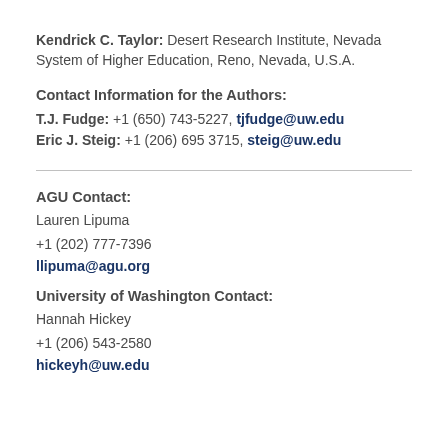Kendrick C. Taylor: Desert Research Institute, Nevada System of Higher Education, Reno, Nevada, U.S.A.
Contact Information for the Authors:
T.J. Fudge: +1 (650) 743-5227, tjfudge@uw.edu
Eric J. Steig: +1 (206) 695 3715, steig@uw.edu
AGU Contact:
Lauren Lipuma
+1 (202) 777-7396
llipuma@agu.org
University of Washington Contact:
Hannah Hickey
+1 (206) 543-2580
hickeyh@uw.edu